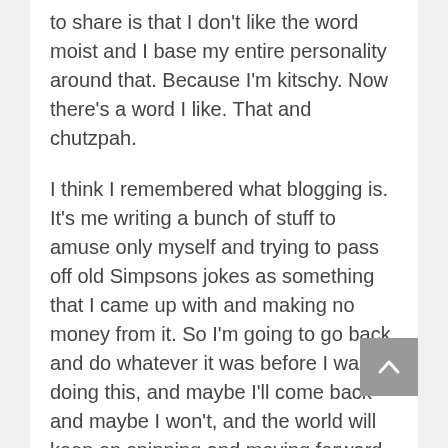to share is that I don't like the word moist and I base my entire personality around that. Because I'm kitschy. Now there's a word I like. That and chutzpah.
I think I remembered what blogging is. It's me writing a bunch of stuff to amuse only myself and trying to pass off old Simpsons jokes as something that I came up with and making no money from it. So I'm going to go back and do whatever it was before I was doing this, and maybe I'll come back and maybe I won't, and the world will keep on spinning and moving forward despite my protests.
I might also eat something. I don't think I've